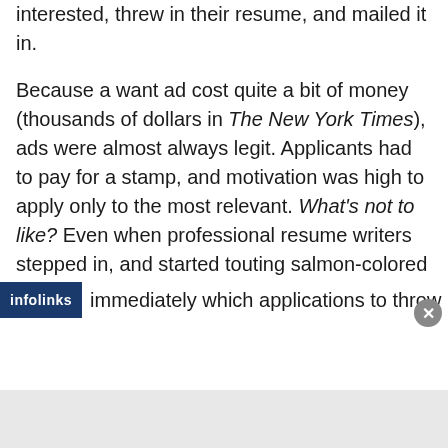interested, threw in their resume, and mailed it in.
Because a want ad cost quite a bit of money (thousands of dollars in The New York Times), ads were almost always legit. Applicants had to pay for a stamp, and motivation was high to apply only to the most relevant. What's not to like? Even when professional resume writers stepped in, and started touting salmon-colored paper to make their clients' submissions literally stand out, it was still manageable; employers knew immediately which applications to throw